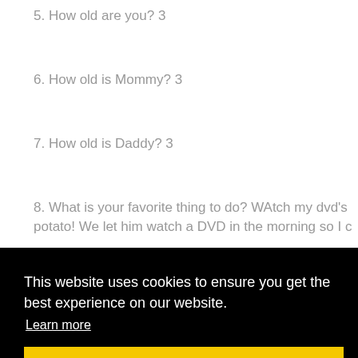5. How old are you? 3
6. How old is Mommy? 3
7. How old is Daddy? 3
8. What is your favorite thing to do? WAtch my dvd's potato! We let him watch a DVD in the morning so I c
This website uses cookies to ensure you get the best experience on our website.
Learn more
Got it!